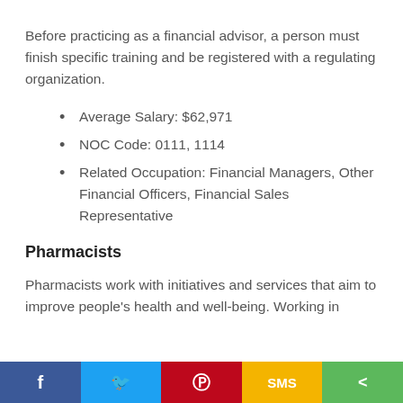Before practicing as a financial advisor, a person must finish specific training and be registered with a regulating organization.
Average Salary: $62,971
NOC Code: 0111, 1114
Related Occupation: Financial Managers, Other Financial Officers, Financial Sales Representative
Pharmacists
Pharmacists work with initiatives and services that aim to improve people's health and well-being. Working in